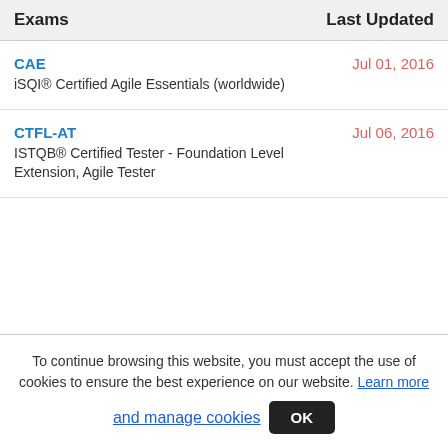| Exams | Last Updated |
| --- | --- |
| CAE
iSQI® Certified Agile Essentials (worldwide) | Jul 01, 2016 |
| CTFL-AT
ISTQB® Certified Tester - Foundation Level Extension, Agile Tester | Jul 06, 2016 |
To continue browsing this website, you must accept the use of cookies to ensure the best experience on our website. Learn more and manage cookies  OK